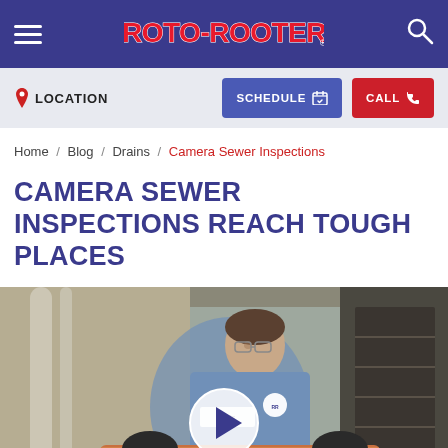ROTO-ROOTER - Navigation bar with hamburger menu, logo, and search icon
LOCATION  SCHEDULE  CALL
Home / Blog / Drains / Camera Sewer Inspections
CAMERA SEWER INSPECTIONS REACH TOUGH PLACES
[Figure (photo): A Roto-Rooter technician in a blue uniform working on copper pipes in a utility/basement area. A video play button overlay is visible at the bottom center of the image.]